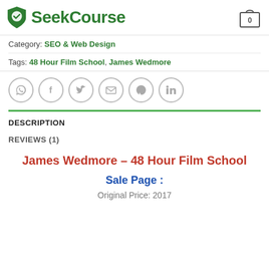[Figure (logo): SeekCourse logo with green shield icon and green text, plus shopping cart icon with '0']
Category: SEO & Web Design
Tags: 48 Hour Film School, James Wedmore
[Figure (infographic): Row of 6 social share icon circles: WhatsApp, Facebook, Twitter, Email, Pinterest, LinkedIn]
DESCRIPTION
REVIEWS (1)
James Wedmore – 48 Hour Film School
Sale Page :
Original Price: 2017